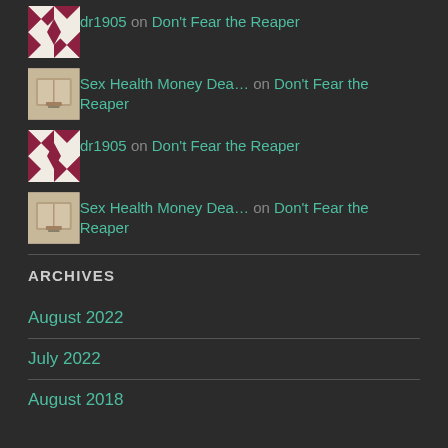dr1905 on Don't Fear the Reaper
Sex Health Money Dea… on Don't Fear the Reaper
dr1905 on Don't Fear the Reaper
Sex Health Money Dea… on Don't Fear the Reaper
ARCHIVES
August 2022
July 2022
August 2018